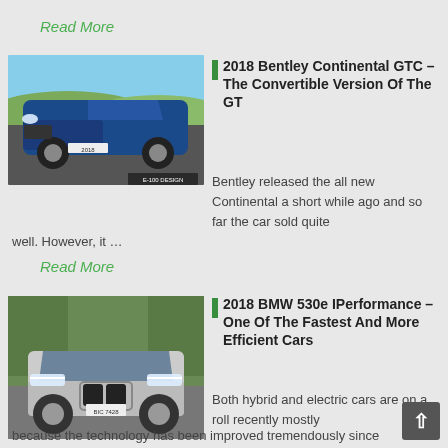Read More
[Figure (photo): Blue Bentley Continental GTC convertible driving on a road with hills in background]
2018 Bentley Continental GTC – The Convertible Version Of The GT
Bentley released the all new Continental a short while ago and so far the car sold quite well. However, it …
Read More
[Figure (photo): Silver BMW 530e iPerformance front view on a curved road]
2018 BMW 530e IPerformance – One Of The Fastest And More Efficient Cars
Both hybrid and electric cars are on a roll recently mostly because the technology has been improved tremendously since